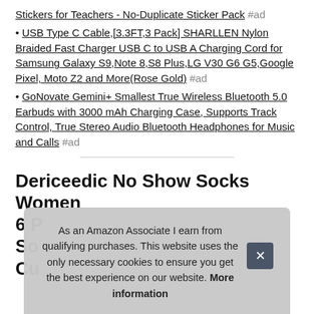Stickers for Teachers - No-Duplicate Sticker Pack #ad
• USB Type C Cable,[3.3FT,3 Pack] SHARLLEN Nylon Braided Fast Charger USB C to USB A Charging Cord for Samsung Galaxy S9,Note 8,S8 Plus,LG V30 G6 G5,Google Pixel, Moto Z2 and More(Rose Gold) #ad
• GoNovate Gemini+ Smallest True Wireless Bluetooth 5.0 Earbuds with 3000 mAh Charging Case, Supports Track Control, True Stereo Audio Bluetooth Headphones for Music and Calls #ad
Dericeedic No Show Socks Women 6 P... So... Cu...
As an Amazon Associate I earn from qualifying purchases. This website uses the only necessary cookies to ensure you get the best experience on our website. More information